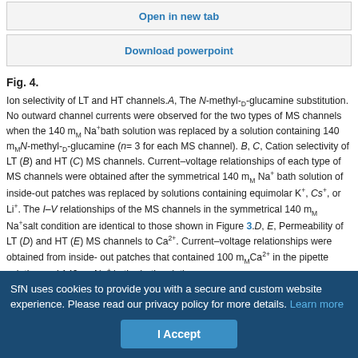Open in new tab
Download powerpoint
Fig. 4.
Ion selectivity of LT and HT channels. A, The N-methyl-D-glucamine substitution. No outward channel currents were observed for the two types of MS channels when the 140 mM Na+ bath solution was replaced by a solution containing 140 mM N-methyl-D-glucamine (n= 3 for each MS channel). B, C, Cation selectivity of LT (B) and HT (C) MS channels. Current–voltage relationships of each type of MS channels were obtained after the symmetrical 140 mM Na+ bath solution of inside-out patches was replaced by solutions containing equimolar K+, Cs+, or Li+. The I–V relationships of the MS channels in the symmetrical 140 mM Na+ salt condition are identical to those shown in Figure 3. D, E, Permeability of LT (D) and HT (E) MS channels to Ca2+. Current–voltage relationships were obtained from inside-out patches that contained 100 mM Ca2+ in the pipette solution and 140 mM Na+ in the bath solution.
SfN uses cookies to provide you with a secure and custom website experience. Please read our privacy policy for more details. Learn more
I Accept